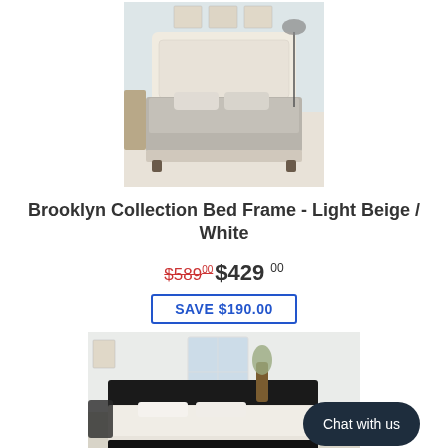[Figure (photo): Photo of a light beige tufted upholstered bed frame with grey bedding in a light-colored bedroom setting]
Brooklyn Collection Bed Frame - Light Beige / White
$589.00 $429.00
SAVE $190.00
[Figure (photo): Photo of a black low-profile platform bed frame with white bedding in a modern bedroom setting with a chat widget overlay]